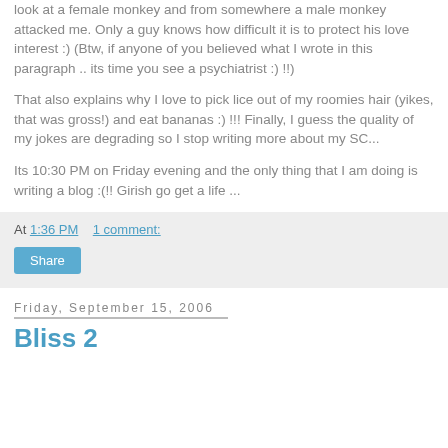look at a female monkey and from somewhere a male monkey attacked me. Only a guy knows how difficult it is to protect his love interest :) (Btw, if anyone of you believed what I wrote in this paragraph .. its time you see a psychiatrist :) !!)
That also explains why I love to pick lice out of my roomies hair (yikes, that was gross!) and eat bananas :) !!! Finally, I guess the quality of my jokes are degrading so I stop writing more about my SC...
Its 10:30 PM on Friday evening and the only thing that I am doing is writing a blog :(!! Girish go get a life ...
At 1:36 PM    1 comment:
Share
Friday, September 15, 2006
Bliss 2